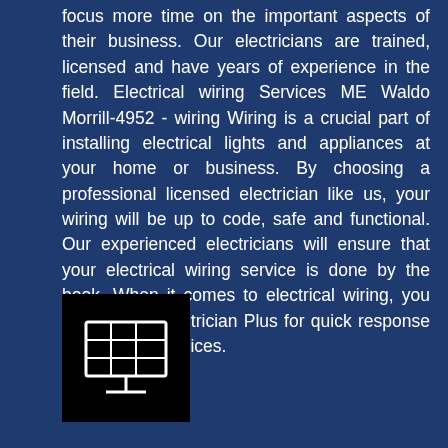focus more time on the important aspects of their business. Our electricians are trained, licensed and have years of experience in the field. Electrical wiring Services ME Waldo Morrill-4952 - wiring Wiring is a crucial part of installing electrical lights and appliances at your home or business. By choosing a professional licensed electrician like us, your wiring will be up to code, safe and functional. Our experienced electricians will ensure that your electrical wiring service is done by the book. When it comes to electrical wiring, you can trust in Electrician Plus for quick response at competitive prices.
[Figure (illustration): Black square icon containing a white solar panel / display screen graphic with a grid pattern on a monitor-like stand]